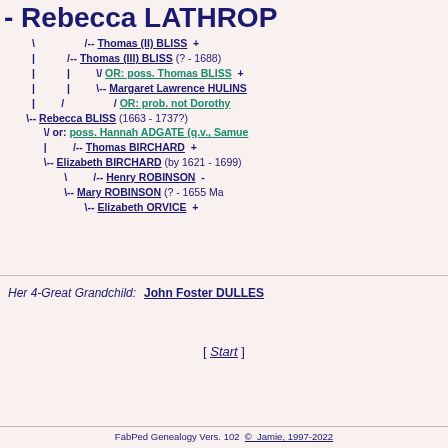- Rebecca LATHROP
[Figure (other): Genealogy ancestor tree for Rebecca LATHROP showing ancestors: Thomas (II) BLISS, Thomas (III) BLISS (?-1688), OR: poss. Thomas BLISS, Margaret Lawrence HULINS, OR: prob. not Dorothy, Rebecca BLISS (1663-1737?), or: poss. Hannah ADGATE (q.v., Samuel), Thomas BIRCHARD, Elizabeth BIRCHARD (by 1621-1699), Henry ROBINSON, Mary ROBINSON (?-1655 Ma.), Elizabeth ORVICE]
Her 4-Great Grandchild:   John Foster DULLES
[ Start ]
FabPed Genealogy Vers. 102  ©  Jamie, 1997-2022